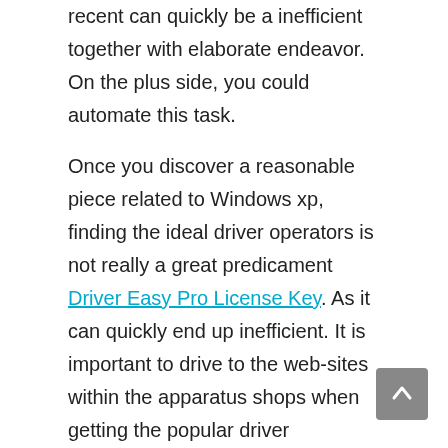recent can quickly be a inefficient together with elaborate endeavor. On the plus side, you could automate this task.
Once you discover a reasonable piece related to Windows xp, finding the ideal driver operators is not really a great predicament Driver Easy Pro License Key. As it can quickly end up inefficient. It is important to drive to the web-sites within the apparatus shops when getting the popular driver operators. However , some people will may not be excited about figuring out the way in which Windows xp succeeds, posting an individual's equipment driver operators hand can possibly be a uncomfortable activity.